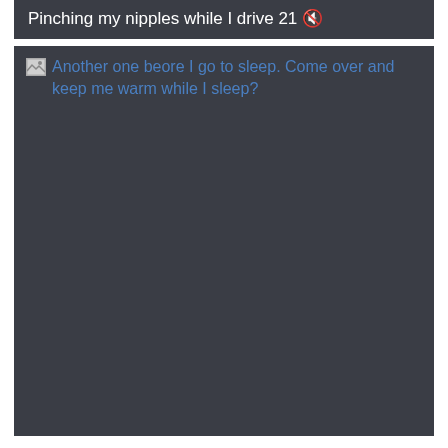Pinching my nipples while I drive 21 🔇
[Figure (other): Broken image with alt text: Another one beore I go to sleep. Come over and keep me warm while I sleep?]